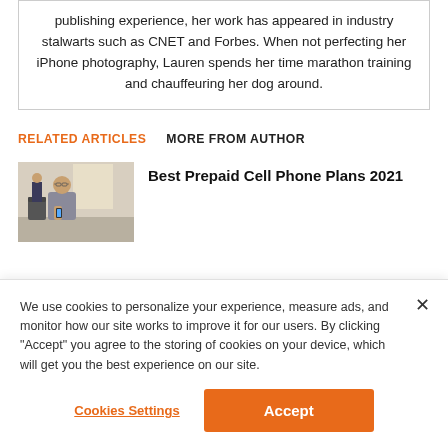publishing experience, her work has appeared in industry stalwarts such as CNET and Forbes. When not perfecting her iPhone photography, Lauren spends her time marathon training and chauffeuring her dog around.
RELATED ARTICLES   MORE FROM AUTHOR
[Figure (photo): Photo of a man in a suit looking at his phone in an office environment]
Best Prepaid Cell Phone Plans 2021
We use cookies to personalize your experience, measure ads, and monitor how our site works to improve it for our users. By clicking "Accept" you agree to the storing of cookies on your device, which will get you the best experience on our site.